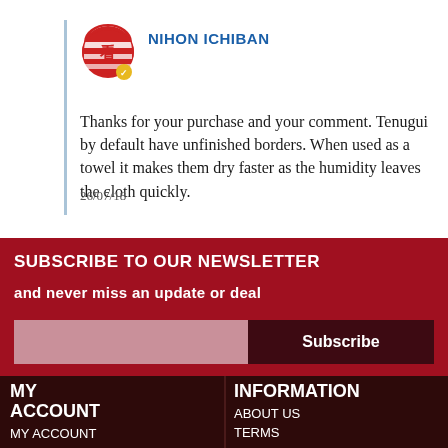[Figure (logo): Nihon Ichiban logo - circular emblem with red and white layered design with Japanese text, with a gold verification checkmark badge]
NIHON ICHIBAN
Thanks for your purchase and your comment. Tenugui by default have unfinished borders. When used as a towel it makes them dry faster as the humidity leaves the cloth quickly.
26/07/18
SUBSCRIBE TO OUR NEWSLETTER
and never miss an update or deal
Subscribe
MY ACCOUNT
MY ACCOUNT
MY CART
INFORMATION
ABOUT US
TERMS